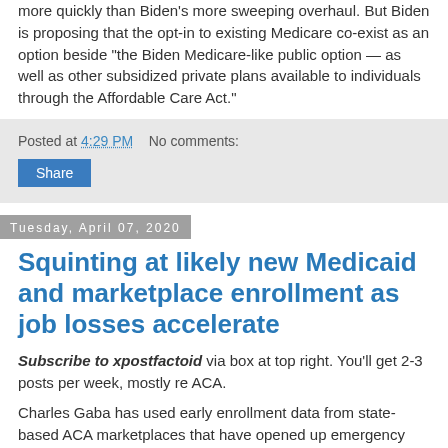more quickly than Biden's more sweeping overhaul. But Biden is proposing that the opt-in to existing Medicare co-exist as an option beside "the Biden Medicare-like public option — as well as other subsidized private plans available to individuals through the Affordable Care Act."
Posted at 4:29 PM    No comments:
Share
Tuesday, April 07, 2020
Squinting at likely new Medicaid and marketplace enrollment as job losses accelerate
Subscribe to xpostfactoid via box at top right. You'll get 2-3 posts per week, mostly re ACA.
Charles Gaba has used early enrollment data from state-based ACA marketplaces that have opened up emergency Special Enrollment Periods to hazard an estimate: If